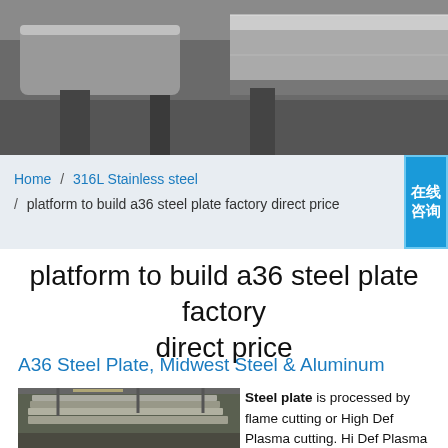[Figure (photo): Close-up industrial photo showing metal machinery parts, possibly a lathe or grinding machine with steel components]
在线咨询
Home / 316L Stainless steel / platform to build a36 steel plate factory direct price
platform to build a36 steel plate factory direct price
A36 Steel Plate, Midwest Steel & Aluminum
[Figure (photo): Stack of steel plates in an industrial warehouse setting]
Steel plate is processed by flame cutting or High Def Plasma cutting. Hi Def Plasma is utilized to sizes 1" and under, over 1" is flame cut A36 Steel plate